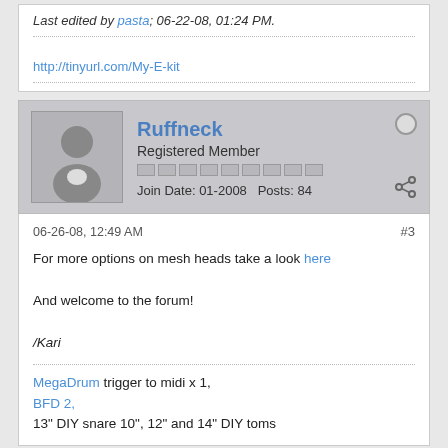Last edited by pasta; 06-22-08, 01:24 PM.
http://tinyurl.com/My-E-kit
Ruffneck
Registered Member
Join Date: 01-2008   Posts: 84
06-26-08, 12:49 AM
#3
For more options on mesh heads take a look here

And welcome to the forum!

/Kari
MegaDrum trigger to midi x 1,
BFD 2,
13" DIY snare 10", 12" and 14" DIY toms